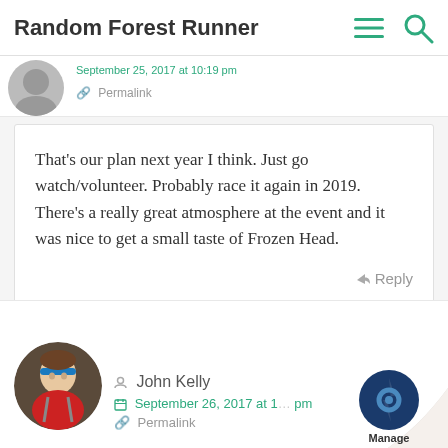Random Forest Runner
September 25, 2017 at 10:19 pm
Permalink
That’s our plan next year I think. Just go watch/volunteer. Probably race it again in 2019. There’s a really great atmosphere at the event and it was nice to get a small taste of Frozen Head.
Reply
John Kelly
September 26, 2017 at 1[...] pm
Permalink
[Figure (photo): Circular avatar photo of John Kelly wearing a blue headband and red shirt, running outdoors]